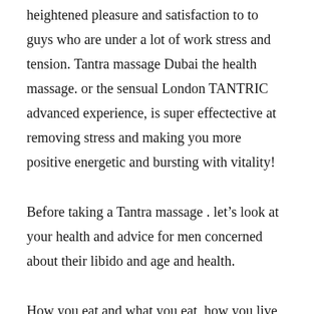heightened pleasure and satisfaction to to guys who are under a lot of work stress and tension. Tantra massage Dubai the health massage. or the sensual London TANTRIC advanced experience, is super effectective at removing stress and making you more positive energetic and bursting with vitality!
Before taking a Tantra massage . let’s look at your health and advice for men concerned about their libido and age and health.
How you eat and what you eat, how you live, stress anxiety, years of cigarettes, can number both on a man’s